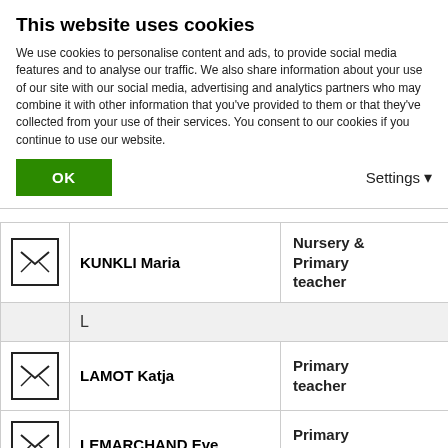This website uses cookies
We use cookies to personalise content and ads, to provide social media features and to analyse our traffic. We also share information about your use of our site with our social media, advertising and analytics partners who may combine it with other information that you've provided to them or that they've collected from your use of their services. You consent to our cookies if you continue to use our website.
|  | Name | Role |
| --- | --- | --- |
| [envelope] | KUNKLI Maria | Nursery & Primary teacher |
|  | L |  |
| [envelope] | LAMOT Katja | Primary teacher |
| [envelope] | LEMARCHAND Eve | Primary teacher |